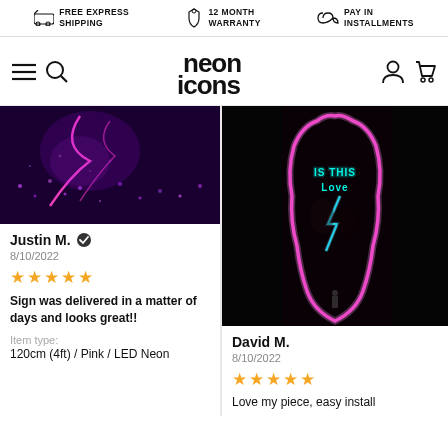FREE EXPRESS SHIPPING | 12 MONTH WARRANTY | PAY IN INSTALLMENTS
[Figure (logo): Neon Icons logo with hamburger menu, search, account and cart icons]
[Figure (photo): Purple neon light installation with electric lightning bolt effect on dark background - review photo by Justin M.]
Justin M. ✔
8/10/2022
★★★★★
Sign was delivered in a matter of days and looks great!!
Item type: 120cm (4ft) / Pink / LED Neon
[Figure (photo): Neon sign reading 'IS THIS Love' in cyan/blue neon with pink border outline on dark background - review photo by David M.]
David M.
8/10/2022
★★★★★
Love my piece, easy install